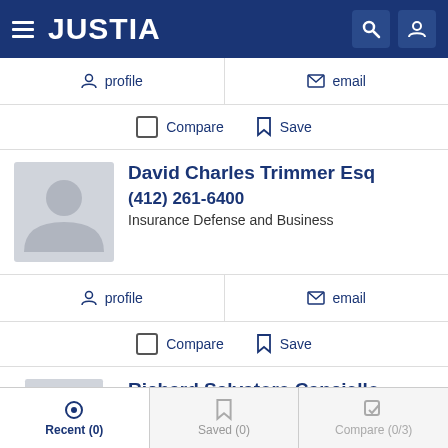JUSTIA
profile   email
Compare   Save
David Charles Trimmer Esq
(412) 261-6400
Insurance Defense and Business
profile   email
Compare   Save
Richard Salvatore Canciello
(412) 553-7116
Recent (0)   Saved (0)   Compare (0/3)